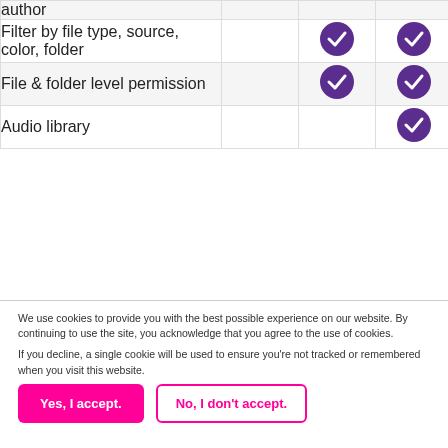| Feature |  |  |  |
| --- | --- | --- | --- |
| author |  |  |  |
| Filter by file type, source, color, folder |  | ✓ | ✓ |
| File & folder level permission |  | ✓ | ✓ |
| Audio library |  |  | ✓ |
We use cookies to provide you with the best possible experience on our website. By continuing to use the site, you acknowledge that you agree to the use of cookies.

If you decline, a single cookie will be used to ensure you're not tracked or remembered when you visit this website.